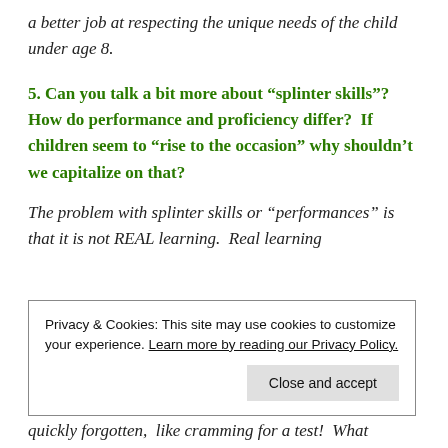a better job at respecting the unique needs of the child under age 8.
5. Can you talk a bit more about “splinter skills”?  How do performance and proficiency differ?  If children seem to “rise to the occasion” why shouldn’t we capitalize on that?
The problem with splinter skills or “performances” is that it is not REAL learning.  Real learning
Privacy & Cookies: This site may use cookies to customize your experience. Learn more by reading our Privacy Policy.
quickly forgotten, like cramming for a test!  What